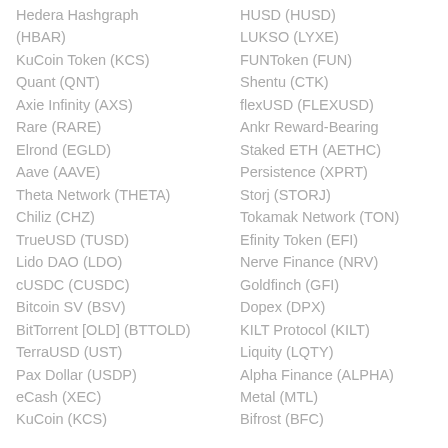Hedera Hashgraph (HBAR)
KuCoin Token (KCS)
Quant (QNT)
Axie Infinity (AXS)
Rare (RARE)
Elrond (EGLD)
Aave (AAVE)
Theta Network (THETA)
Chiliz (CHZ)
TrueUSD (TUSD)
Lido DAO (LDO)
cUSDC (CUSDC)
Bitcoin SV (BSV)
BitTorrent [OLD] (BTTOLD)
TerraUSD (UST)
Pax Dollar (USDP)
eCash (XEC)
KuCoin (KCS)
HUSD (HUSD)
LUKSO (LYXE)
FUNToken (FUN)
Shentu (CTK)
flexUSD (FLEXUSD)
Ankr Reward-Bearing
Staked ETH (AETHC)
Persistence (XPRT)
Storj (STORJ)
Tokamak Network (TON)
Efinity Token (EFI)
Nerve Finance (NRV)
Goldfinch (GFI)
Dopex (DPX)
KILT Protocol (KILT)
Liquity (LQTY)
Alpha Finance (ALPHA)
Metal (MTL)
Bifrost (BFC)